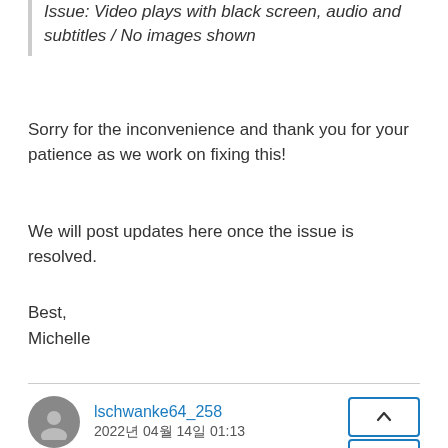Issue: Video plays with black screen, audio and subtitles / No images shown
Sorry for the inconvenience and thank you for your patience as we work on fixing this!
We will post updates here once the issue is resolved.
Best,
Michelle
lschwanke64_258
2022년 04월 14일 01:13
I am able to get the it on my 4K fire cube